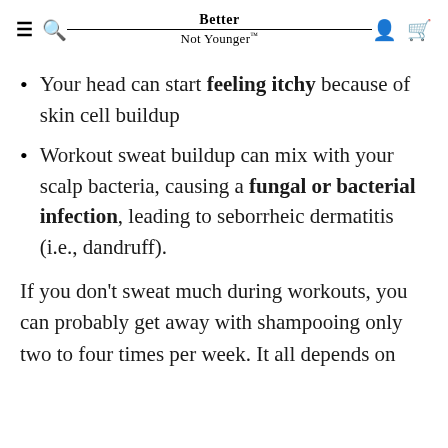Better Not Younger™
Your head can start feeling itchy because of skin cell buildup
Workout sweat buildup can mix with your scalp bacteria, causing a fungal or bacterial infection, leading to seborrheic dermatitis (i.e., dandruff).
If you don't sweat much during workouts, you can probably get away with shampooing only two to four times per week. It all depends on